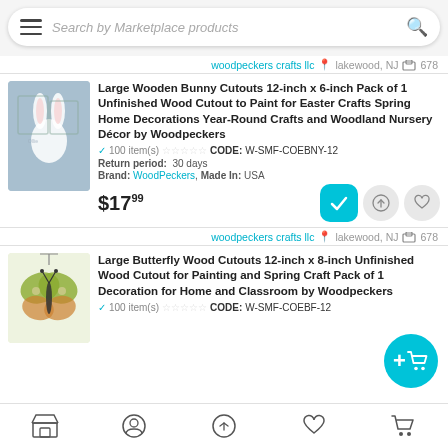Search by Marketplace products
woodpeckers crafts llc  lakewood, NJ  678
Large Wooden Bunny Cutouts 12-inch x 6-inch Pack of 1 Unfinished Wood Cutout to Paint for Easter Crafts Spring Home Decorations Year-Round Crafts and Woodland Nursery Décor by Woodpeckers
100 item(s)  ☆☆☆☆☆  CODE: W-SMF-COEBNY-12  Return period: 30 days  Brand: WoodPeckers, Made In: USA
$17.99
woodpeckers crafts llc  lakewood, NJ  678
Large Butterfly Wood Cutouts 12-inch x 8-inch Unfinished Wood Cutout for Painting and Spring Craft Pack of 1 Decoration for Home and Classroom by Woodpeckers
100 item(s)  ☆☆☆☆☆  CODE: W-SMF-COEBF-12